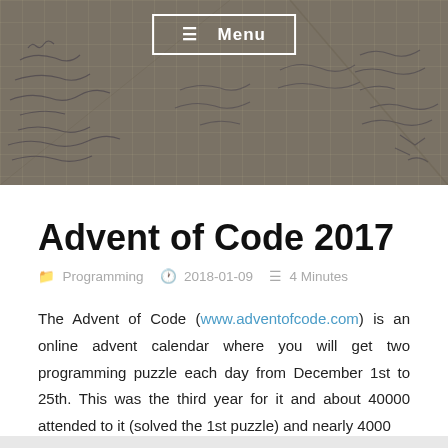[Figure (photo): Website header image showing graph paper with handwritten notes and mathematical notations, in a brownish-grey tone, with a white menu button at the top center]
Advent of Code 2017
Programming   2018-01-09   4 Minutes
The Advent of Code (www.adventofcode.com) is an online advent calendar where you will get two programming puzzle each day from December 1st to 25th. This was the third year for it and about 40000 attended to it (solved the 1st puzzle) and nearly 4000